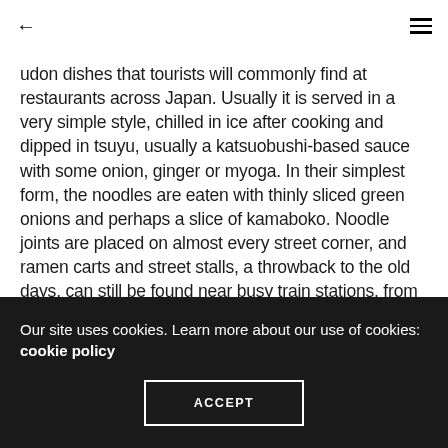← ☰
udon dishes that tourists will commonly find at restaurants across Japan. Usually it is served in a very simple style, chilled in ice after cooking and dipped in tsuyu, usually a katsuobushi-based sauce with some onion, ginger or myoga. In their simplest form, the noodles are eaten with thinly sliced green onions and perhaps a slice of kamaboko. Noodle joints are placed on almost every street corner, and ramen carts and street stalls, a throwback to the old days, can still be found near busy train stations. from all around the world and we provide Japanese
Our site uses cookies. Learn more about our use of cookies: cookie policy
ACCEPT